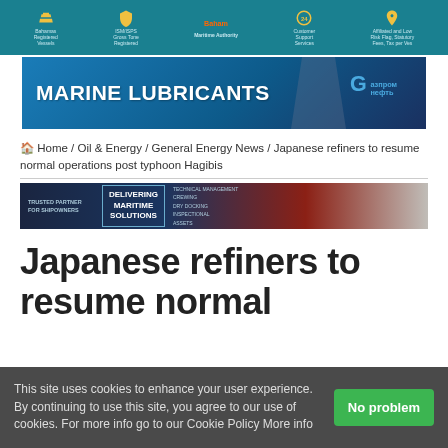[Figure (infographic): Top banner with teal background showing maritime/shipping service icons including ship registration, crewing, support services with yellow icons and white text]
[Figure (infographic): Marine Lubricants banner ad with blue gradient background, worker in hard hat, and Gazpromneft logo on right]
Home / Oil & Energy / General Energy News / Japanese refiners to resume normal operations post typhoon Hagibis
[Figure (infographic): Maritime solutions banner ad: dark navy and red, text reads TRUSTED PARTNER FOR SHIPOWNERS, DELIVERING MARITIME SOLUTIONS, technical management crewing dry docking inspectional assets]
Japanese refiners to resume normal
This site uses cookies to enhance your user experience. By continuing to use this site, you agree to our use of cookies. For more info go to our Cookie Policy More info